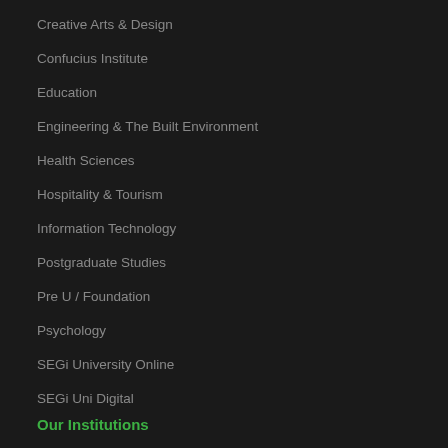Creative Arts & Design
Confucius Institute
Education
Engineering & The Built Environment
Health Sciences
Hospitality & Tourism
Information Technology
Postgraduate Studies
Pre U / Foundation
Psychology
SEGi University Online
SEGi Uni Digital
Our Institutions